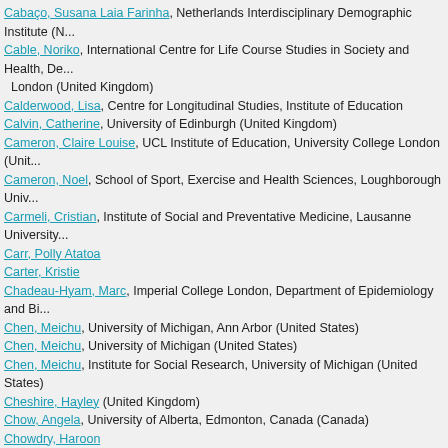Cabaço, Susana Laia Farinha, Netherlands Interdisciplinary Demographic Institute (N...
Cable, Noriko, International Centre for Life Course Studies in Society and Health, De... London (United Kingdom)
Calderwood, Lisa, Centre for Longitudinal Studies, Institute of Education
Calvin, Catherine, University of Edinburgh (United Kingdom)
Cameron, Claire Louise, UCL Institute of Education, University College London (Unit...
Cameron, Noel, School of Sport, Exercise and Health Sciences, Loughborough Univ...
Carmeli, Cristian, Institute of Social and Preventative Medicine, Lausanne University...
Carr, Polly Atatoa
Carter, Kristie
Chadeau-Hyam, Marc, Imperial College London, Department of Epidemiology and Bi...
Chen, Meichu, University of Michigan, Ann Arbor (United States)
Chen, Meichu, University of Michigan (United States)
Chen, Meichu, Institute for Social Research, University of Michigan (United States)
Cheshire, Hayley (United Kingdom)
Chow, Angela, University of Alberta, Edmonton, Canada (Canada)
Chowdry, Haroon
Christiaens, Jenneke
Christoffersen, Mogens Nygaard, SFI – The Danish National Centre for Social Resea... Denmark (Denmark)
Clark, Charlotte, Centre for Psychiatry, Wolfson Institute of Preventive Medicine, Bar... Queen Mary University of London
Clark, William A.V., University of California, Los Angeles
Clarke, COMMENTARIES: Paul
Clarke, Paul, Centre for Market and Public Organisation, University of Bristol (United...
Coleman, Lester, One Plus One, London (United Kingdom)
Collings, Sunny
Cooksey, Elizabeth, Ohio State University (United States)
Corley, Janie
Corna, Laurie, King's College London
Corna, Laurie, Lecturer in the Sociology of Ageing Department of Social Science, He... Social Science and Public Policy King's College London (Canada)
Cortina-Borja, Mario, Population, Policy and Practice Programme, UCL Institute of Ch...
Costa, Giuseppe, Turin University Medical School, Department of Clinical Sciences &...
Costa, Silvia, University College London, Institute of Child Health (United Kingdom)
Courtney, Mark, University of Chicago (United States)
Cox, Pamela, University of Essex (United Kingdom)